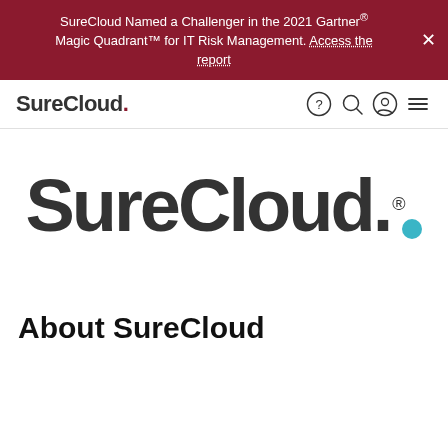SureCloud Named a Challenger in the 2021 Gartner® Magic Quadrant™ for IT Risk Management. Access the report
[Figure (logo): SureCloud navigation bar logo - text 'SureCloud' with a red dot, with icons for help, search, account, and menu]
[Figure (logo): SureCloud large logo - 'SureCloud.' text in dark gray with a teal dot, and registered trademark symbol]
About SureCloud